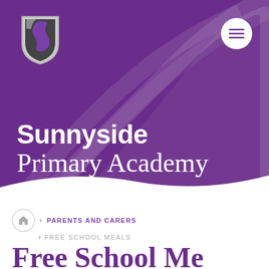[Figure (illustration): Purple header banner with Sunnyside Primary Academy logo (shield with stylized S design in grey/white/black) and decorative curved arc shapes in a slightly lighter purple tone]
Sunnyside Primary Academy
Home > PARENTS AND CARERS > FREE SCHOOL MEALS
Free School Me...